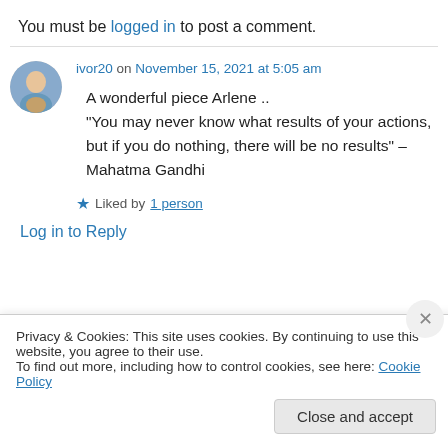You must be logged in to post a comment.
ivor20 on November 15, 2021 at 5:05 am
A wonderful piece Arlene ..
“You may never know what results of your actions, but if you do nothing, there will be no results” – Mahatma Gandhi
Liked by 1 person
Log in to Reply
Privacy & Cookies: This site uses cookies. By continuing to use this website, you agree to their use.
To find out more, including how to control cookies, see here: Cookie Policy
Close and accept